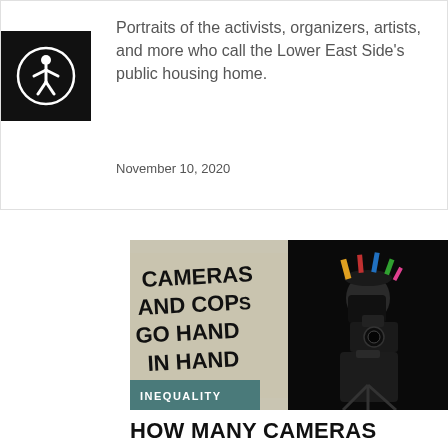[Figure (other): Accessibility icon — white person-in-circle symbol on black background]
Portraits of the activists, organizers, artists, and more who call the Lower East Side's public housing home.
November 10, 2020
[Figure (photo): Two side-by-side photos: left shows graffiti reading 'CAMERAS AND COPS GO HAND IN HAND' on a wall; right shows a person with a camera on a tripod at night wearing dark clothing and a festive hat. An 'INEQUALITY' badge overlays the bottom-left of the left photo.]
HOW MANY CAMERAS DOES ONE PROTEST